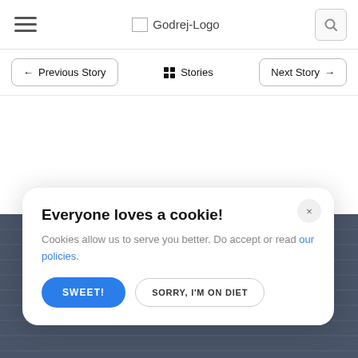Godrej-Logo
← Previous Story   Stories   Next Story →
[Figure (screenshot): Dark blue-grey footer section with horizontal line pattern]
Everyone loves a cookie! Cookies allow us to serve you better. Do accept or read our policies. SWEET! SORRY, I'M ON DIET